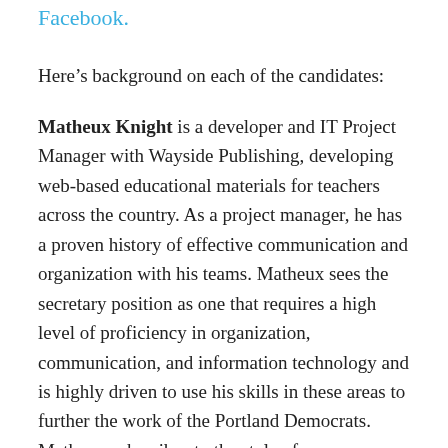Facebook.
Here’s background on each of the candidates:
Matheux Knight is a developer and IT Project Manager with Wayside Publishing, developing web-based educational materials for teachers across the country. As a project manager, he has a proven history of effective communication and organization with his teams. Matheux sees the secretary position as one that requires a high level of proficiency in organization, communication, and information technology and is highly driven to use his skills in these areas to further the work of the Portland Democrats. Matheux subscribes to the style of